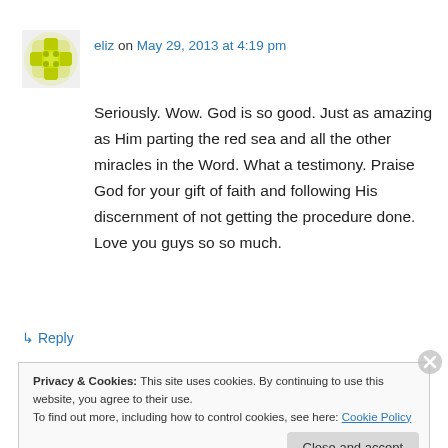eliz on May 29, 2013 at 4:19 pm
Seriously. Wow. God is so good. Just as amazing as Him parting the red sea and all the other miracles in the Word. What a testimony. Praise God for your gift of faith and following His discernment of not getting the procedure done. Love you guys so so much.
↵ Reply
Privacy & Cookies: This site uses cookies. By continuing to use this website, you agree to their use. To find out more, including how to control cookies, see here: Cookie Policy
Close and accept